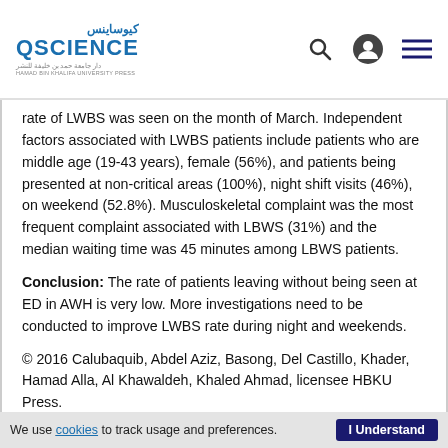QSCIENCE (QScience logo with Arabic text and subtitle)
rate of LWBS was seen on the month of March. Independent factors associated with LWBS patients include patients who are middle age (19-43 years), female (56%), and patients being presented at non-critical areas (100%), night shift visits (46%), on weekend (52.8%). Musculoskeletal complaint was the most frequent complaint associated with LBWS (31%) and the median waiting time was 45 minutes among LBWS patients.
Conclusion: The rate of patients leaving without being seen at ED in AWH is very low. More investigations need to be conducted to improve LWBS rate during night and weekends.
© 2016 Calubaquib, Abdel Aziz, Basong, Del Castillo, Khader, Hamad Alla, Al Khawaldeh, Khaled Ahmad, licensee HBKU Press.
We use cookies to track usage and preferences. I Understand